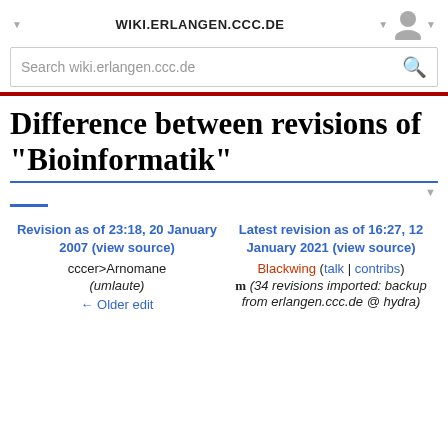WIKI.ERLANGEN.CCC.DE
Difference between revisions of "Bioinformatik"
Revision as of 23:18, 20 January 2007 (view source)
cccer>Arnomane
(umlaute)
← Older edit
Latest revision as of 16:27, 12 January 2021 (view source)
Blackwing (talk | contribs)
m (34 revisions imported: backup from erlangen.ccc.de @ hydra)